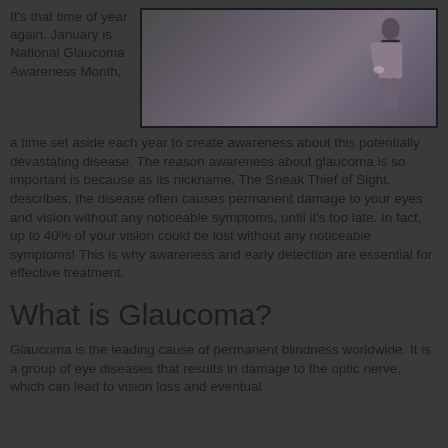It's that time of year again. January is National Glaucoma Awareness Month, a time set aside each year to create awareness about this potentially devastating disease. The reason awareness about glaucoma is so important is because as its nickname, The Sneak Thief of Sight, describes, the disease often causes permanent damage to your eyes and vision without any noticeable symptoms, until it's too late. In fact, up to 40% of your vision could be lost without any noticeable symptoms! This is why awareness and early detection are essential for effective treatment.
[Figure (photo): A person wearing sunglasses, photographed outdoors, sitting or leaning with a blurred background.]
What is Glaucoma?
Glaucoma is the leading cause of permanent blindness worldwide. It is a group of eye diseases that results in damage to the optic nerve, which can lead to vision loss and eventual